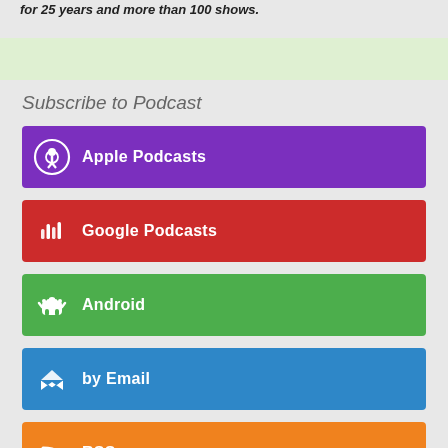for 25 years and more than 100 shows.
[Figure (other): Light green banner/advertisement strip]
Subscribe to Podcast
Apple Podcasts
Google Podcasts
Android
by Email
RSS